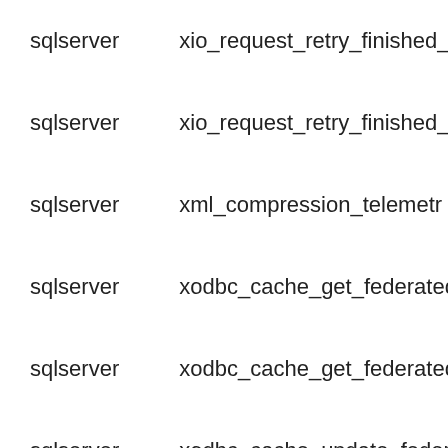| sqlserver | xio_request_retry_finished_ |
| sqlserver | xio_request_retry_finished_ |
| sqlserver | xml_compression_telemetr |
| sqlserver | xodbc_cache_get_federated |
| sqlserver | xodbc_cache_get_federated |
| sqlserver | xodbc_cache_update_feder |